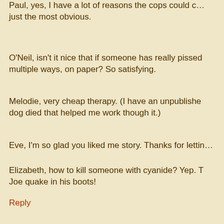Paul, yes, I have a lot of reasons the cops could c… just the most obvious.
O'Neil, isn't it nice that if someone has really pissed … multiple ways, on paper? So satisfying.
Melodie, very cheap therapy. (I have an unpublishe… dog died that helped me work though it.)
Eve, I'm so glad you liked me story. Thanks for lettin…
Elizabeth, how to kill someone with cyanide? Yep. T… Joe quake in his boots!
Bonnie, I got a perverse laugh out of your story. A… that name?
Reply